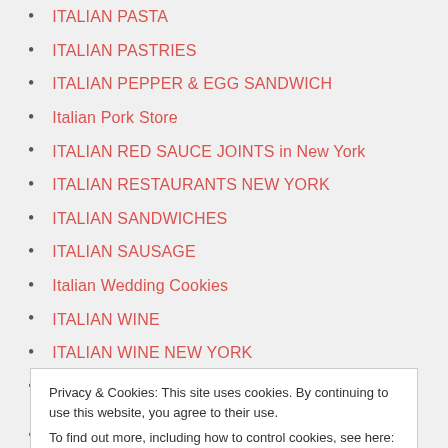ITALIAN PASTA
ITALIAN PASTRIES
ITALIAN PEPPER & EGG SANDWICH
Italian Pork Store
ITALIAN RED SAUCE JOINTS in New York
ITALIAN RESTAURANTS NEW YORK
ITALIAN SANDWICHES
ITALIAN SAUSAGE
Italian Wedding Cookies
ITALIAN WINE
ITALIAN WINE NEW YORK
ITALO STUPINO
Privacy & Cookies: This site uses cookies. By continuing to use this website, you agree to their use. To find out more, including how to control cookies, see here: Cookie Policy
Close and accept
La VIGILIA